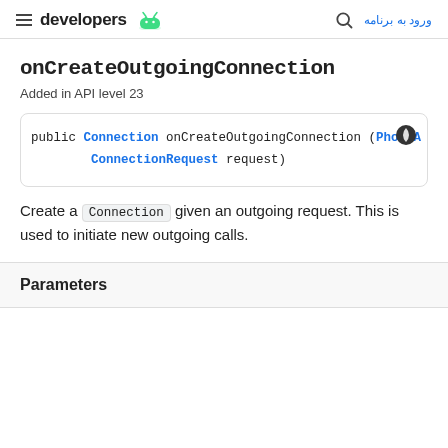developers | ورود به برنامه
onCreateOutgoingConnection
Added in API level 23
[Figure (screenshot): Code block showing: public Connection onCreateOutgoingConnection (PhoneA ConnectionRequest request)]
Create a Connection given an outgoing request. This is used to initiate new outgoing calls.
Parameters